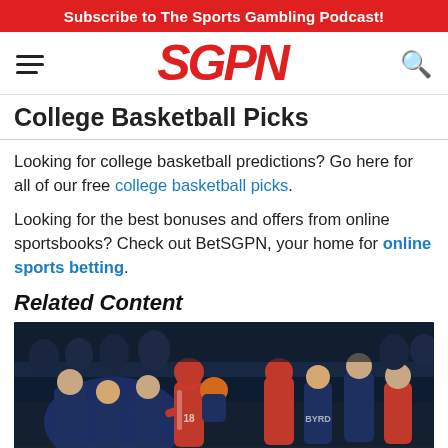Subscribe to The Sports Gambling Podcast!
[Figure (logo): SGPN logo in red italic bold text with hamburger menu icon on left and search icon on right]
College Basketball Picks
Looking for college basketball predictions? Go here for all of our free college basketball picks.
Looking for the best bonuses and offers from online sportsbooks? Check out BetSGPN, your home for online sports betting.
Related Content
[Figure (photo): Football players in blue/navy and red uniforms in action during a game, crowded sideline scene at night]